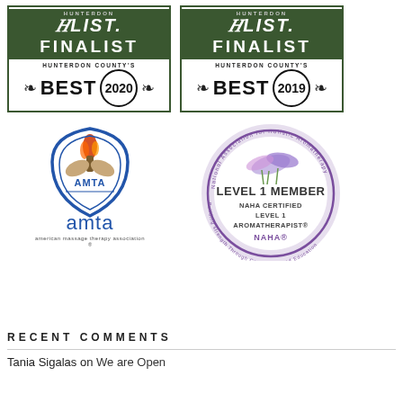[Figure (logo): H List Finalist – Hunterdon County's Best 2020 badge with green border]
[Figure (logo): H List Finalist – Hunterdon County's Best 2019 badge with green border]
[Figure (logo): AMTA – American Massage Therapy Association logo with torch emblem]
[Figure (logo): NAHA Level 1 Member – NAHA Certified Level 1 Aromatherapist circular badge with lavender flowers]
RECENT COMMENTS
Tania Sigalas on We are Open